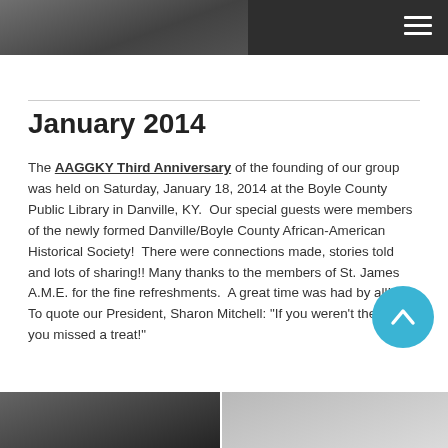[Figure (photo): Top navigation bar with dark background and hamburger menu icon on the right; partial cropped photo visible on the left side]
January 2014
The AAGGKY Third Anniversary of the founding of our group was held on Saturday, January 18, 2014 at the Boyle County Public Library in Danville, KY.  Our special guests were members of the newly formed Danville/Boyle County African-American Historical Society!  There were connections made, stories told and lots of sharing!! Many thanks to the members of St. James A.M.E. for the fine refreshments.  A great time was had by all!!  To quote our President, Sharon Mitchell: "If you weren't there, you missed a treat!"
[Figure (photo): Two photos at the bottom of the page, partially visible]